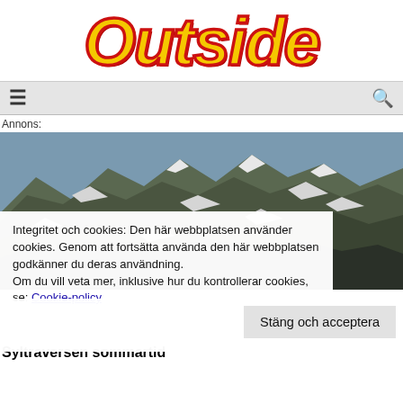[Figure (logo): Outside magazine logo in large yellow bold italic font with red outline]
≡   🔍
Annons:
[Figure (photo): Mountain landscape with snow patches on rocky peaks under a blue sky]
Integritet och cookies: Den här webbplatsen använder cookies. Genom att fortsätta använda den här webbplatsen godkänner du deras användning.
Om du vill veta mer, inklusive hur du kontrollerar cookies, se: Cookie-policy
Stäng och acceptera
Syltraversen sommartid